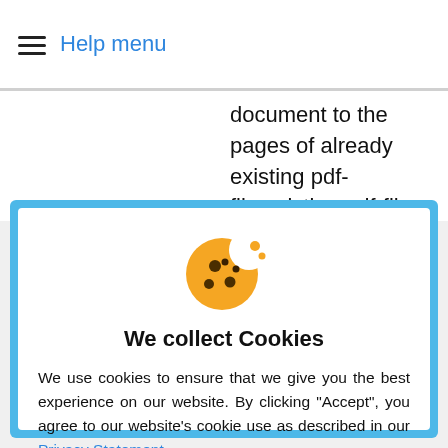Help menu
document to the pages of already existing pdf-file.
[Figure (illustration): Cookie emoji illustration — orange cookie with chocolate chip spots and a bite taken out, with two small crumbs nearby]
We collect Cookies
We use cookies to ensure that we give you the best experience on our website. By clicking “Accept”, you agree to our website’s cookie use as described in our Privacy Statement.